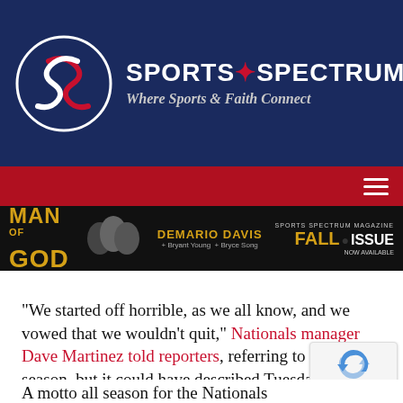[Figure (logo): Sports Spectrum logo with circular S icon and text 'SPORTS SPECTRUM — Where Sports & Faith Connect' on dark navy background]
[Figure (screenshot): Navigation bar in red with hamburger menu icon on the right]
[Figure (screenshot): Banner for Sports Spectrum Magazine Fall Issue Now Available featuring DeMario Davis, Man of God, with Bryant Young and Bryce Song guests]
“We started off horrible, as we all know, and we vowed that we wouldn’t quit,” Nationals manager Dave Martinez told reporters, referring to the whole season, but it could have described Tuesday night as well. “I told the boys, ‘I promise you, stay with it, don’t quit, this will turn around.’ And it did. And here we are today.”
A motto all season for the Nationals